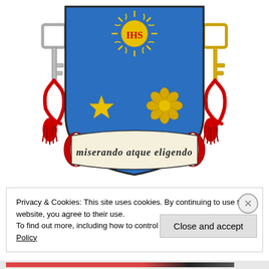[Figure (illustration): Papal coat of arms of Pope Francis featuring a blue shield with IHS sun symbol, star, and pine cone/flower, flanked by silver and gold keys with red tassels, and a scroll banner reading MISERANDO ATQUE ELIGENDO]
Privacy & Cookies: This site uses cookies. By continuing to use this website, you agree to their use.
To find out more, including how to control cookies, see here: Cookie Policy
Close and accept